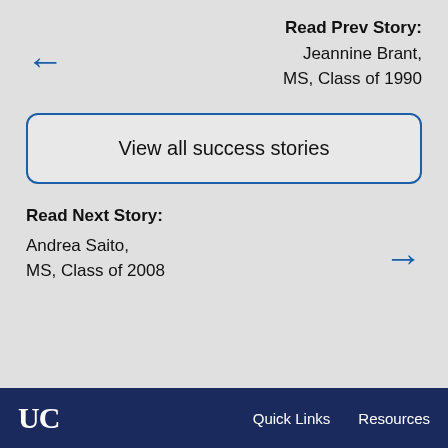Read Prev Story:
Jeannine Brant, MS, Class of 1990
View all success stories
Read Next Story:
Andrea Saito, MS, Class of 2008
UC  Quick Links  Resources